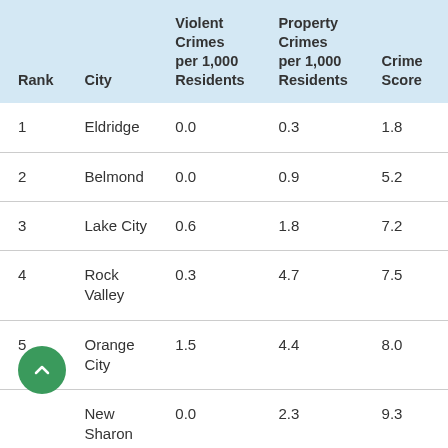| Rank | City | Violent Crimes per 1,000 Residents | Property Crimes per 1,000 Residents | Crime Score |
| --- | --- | --- | --- | --- |
| 1 | Eldridge | 0.0 | 0.3 | 1.8 |
| 2 | Belmond | 0.0 | 0.9 | 5.2 |
| 3 | Lake City | 0.6 | 1.8 | 7.2 |
| 4 | Rock Valley | 0.3 | 4.7 | 7.5 |
| 5 | Orange City | 1.5 | 4.4 | 8.0 |
|  | New Sharon | 0.0 | 2.3 | 9.3 |